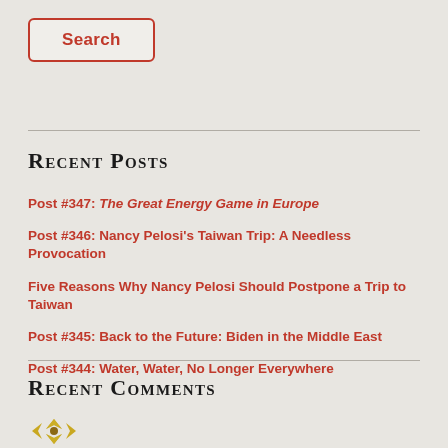[Figure (other): Search button with red border and red text]
Recent Posts
Post #347: The Great Energy Game in Europe
Post #346: Nancy Pelosi's Taiwan Trip: A Needless Provocation
Five Reasons Why Nancy Pelosi Should Postpone a Trip to Taiwan
Post #345: Back to the Future: Biden in the Middle East
Post #344: Water, Water, No Longer Everywhere
Recent Comments
[Figure (illustration): Gold/yellow decorative avatar or logo icon at bottom left]